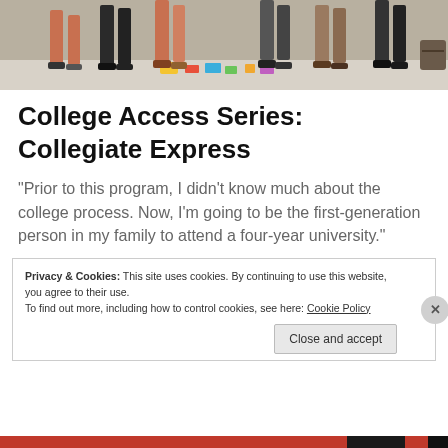[Figure (photo): Group of people standing, only their legs and feet visible from waist down, gathered around items on the floor including colorful papers and objects]
College Access Series: Collegiate Express
“Prior to this program, I didn’t know much about the college process. Now, I’m going to be the first-generation person in my family to attend a four-year university.”
Privacy & Cookies: This site uses cookies. By continuing to use this website, you agree to their use.
To find out more, including how to control cookies, see here: Cookie Policy
Close and accept